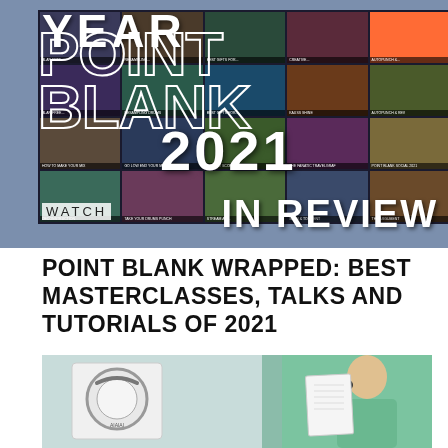[Figure (photo): Point Blank 2021 Year In Review promotional graphic showing a YouTube video grid in the background with large white outlined text reading 'YEAR POINT BLANK 2021 IN REVIEW' and a 'WATCH' label in the lower left]
POINT BLANK WRAPPED: BEST MASTERCLASSES, TALKS AND TUTORIALS OF 2021
[Figure (photo): Photo of a person in a green/teal shirt holding up a pair of Aiaiai brand headphones in their packaging box]